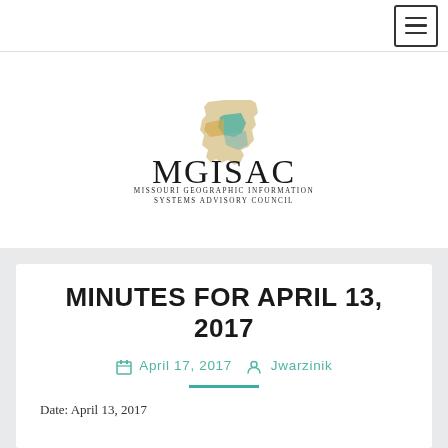Navigation bar with hamburger menu
[Figure (logo): MGISAC logo with Missouri state shape graphic and text 'MGISAC' and 'MISSOURI GEOGRAPHIC INFORMATION SYSTEMS ADVISORY COUNCIL']
MINUTES FOR APRIL 13, 2017
April 17, 2017  Jwarzinik
Date: April 13, 2017